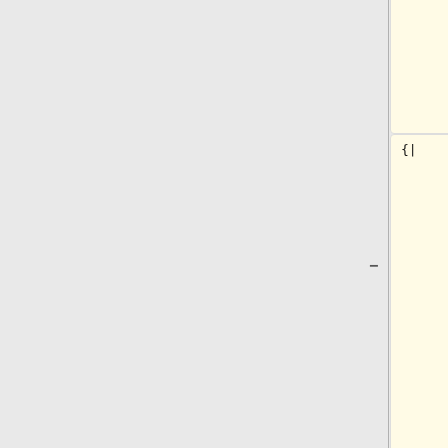| Left (removed) | Right (added) |
| --- | --- |
| send only
one argument
in: | {{hi|postinit}} defined
in
'''config.cpp''': |
| {| | * these
attributes
will make
the function
run '''on
each, every
and any
mission
start''' |
| |
[[File:Ico_none.png]] | * Any
scripting
error will
prevent the
mission from
being loaded
correctly |